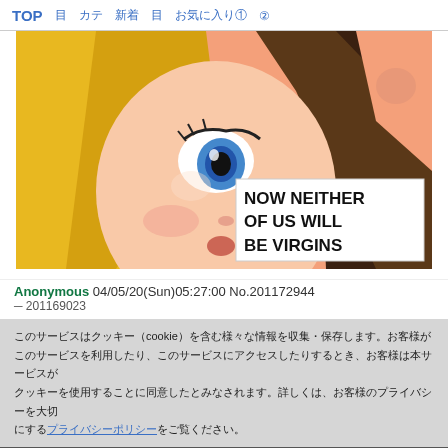TOP　目　カテ　新着　目　お気に入り①　②
[Figure (illustration): Anime character close-up face with blonde hair, blue eye, looking up. White text box overlay reads: NOW NEITHER OF US WILL BE VIRGINS]
Anonymous 04/05/20(Sun)05:27:00 No.201172944
クッキー(cookie)に関する情報を含む様々な情報を収集・保存する。利用中のサービスに関して調査のため。詳細はこちらをご確認ください。
同意する　閉じる